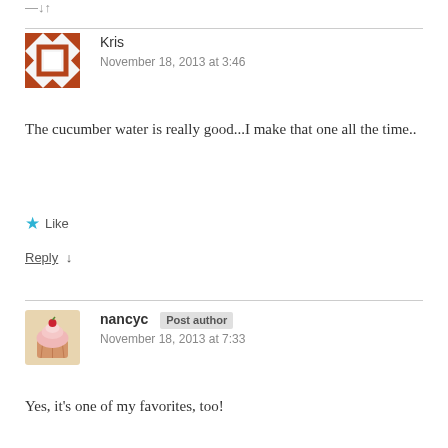—↓↑
[Figure (illustration): Avatar icon for user Kris — brown/rust colored geometric pattern with triangles and squares forming a decorative border]
Kris
November 18, 2013 at 3:46
The cucumber water is really good...I make that one all the time..
★ Like
Reply ↓
[Figure (photo): Avatar photo for user nancyc — a cupcake with pink frosting and a cherry on top]
nancyc Post author
November 18, 2013 at 7:33
Yes, it's one of my favorites, too!